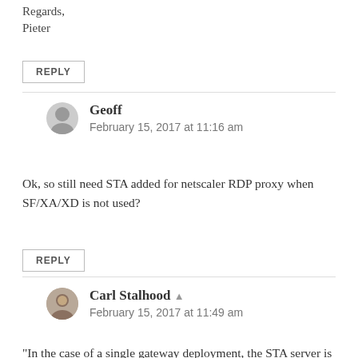Regards,
Pieter
REPLY
Geoff
February 15, 2017 at 11:16 am
Ok, so still need STA added for netscaler RDP proxy when SF/XA/XD is not used?
REPLY
Carl Stalhood
February 15, 2017 at 11:49 am
“In the case of a single gateway deployment, the STA server is not required.”